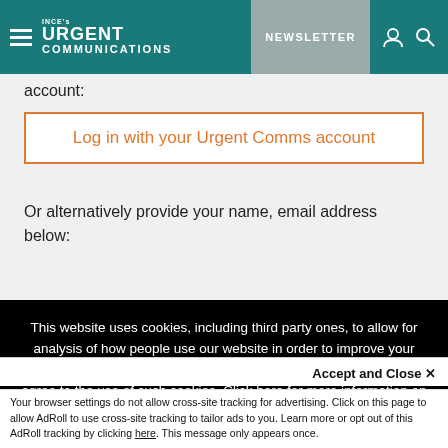INCE's URGENT COMMUNICATIONS | NEWSLETTER
account:
Log in with your Urgent Comms account
Or alternatively provide your name, email address below:
This website uses cookies, including third party ones, to allow for analysis of how people use our website in order to improve your experience and our services. By continuing to use our website, you agree to the use of such cookies. Click here for more information on our Cookie Policy and Privacy Policy
Accept and Close ✕
Your browser settings do not allow cross-site tracking for advertising. Click on this page to allow AdRoll to use cross-site tracking to tailor ads to you. Learn more or opt out of this AdRoll tracking by clicking here. This message only appears once.